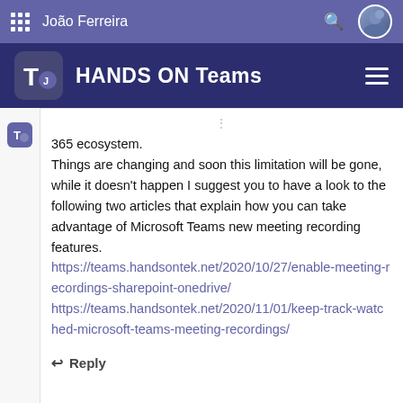João Ferreira
HANDS ON Teams
365 ecosystem.
Things are changing and soon this limitation will be gone, while it doesn't happen I suggest you to have a look to the following two articles that explain how you can take advantage of Microsoft Teams new meeting recording features.
https://teams.handsontek.net/2020/10/27/enable-meeting-recordings-sharepoint-onedrive/
https://teams.handsontek.net/2020/11/01/keep-track-watched-microsoft-teams-meeting-recordings/
↵ Reply